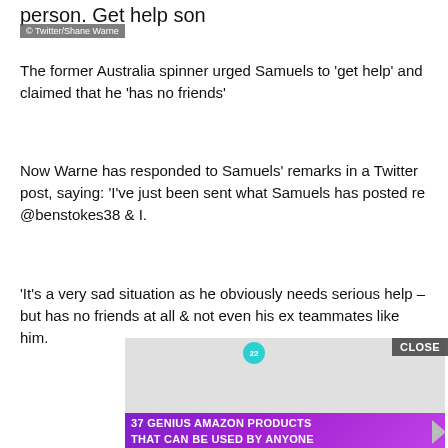© Twitter/Shane Warne
person. Get help son
The former Australia spinner urged Samuels to 'get help' and claimed that he 'has no friends'
Now Warne has responded to Samuels' remarks in a Twitter post, saying: 'I've just been sent what Samuels has posted re @benstokes38 & I.
'It's a very sad situation as he obviously needs serious help – but has no friends at all & not even his ex teammates like him.
[Figure (photo): Advertisement image showing headphones in purple color with overlay text '37 GENIUS AMAZON PRODUCTS THAT CAN BE USED BY ANYONE' and a CLOSE button]